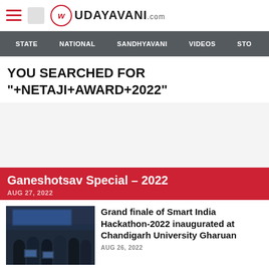UDAYAVANI.com
STATE  NATIONAL  SANDHYAVANI  VIDEOS  STO
YOU SEARCHED FOR "+NETAJI+AWARD+2022"
Ganeshotsav Special – 2022
AUG 27, 2022
[Figure (photo): Group of students at hackathon event]
Grand finale of Smart India Hackathon-2022 inaugurated at Chandigarh University Gharuan
AUG 26, 2022